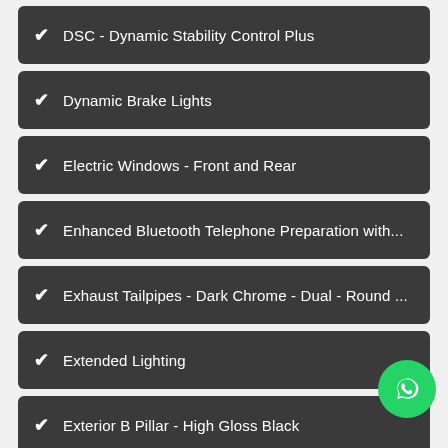✔ DSC - Dynamic Stability Control Plus
✔ Dynamic Brake Lights
✔ Electric Windows - Front and Rear
✔ Enhanced Bluetooth Telephone Preparation with...
✔ Exhaust Tailpipes - Dark Chrome - Dual - Round ...
✔ Extended Lighting
✔ Exterior B Pillar - High Gloss Black
✔ Exterior Mirrors - Electrically Folding with Anti Da...
✔ Exterior Mirrors - Heated - Electrically Adjustable
✔ Exterior Parts in Body Colour